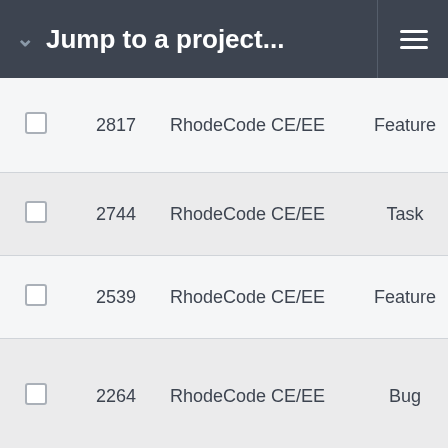Jump to a project...
|  | ID | Project | Type | Status | Priority |
| --- | --- | --- | --- | --- | --- |
|  | 2817 | RhodeCode CE/EE | Feature | Resolved | Normal |
|  | 2744 | RhodeCode CE/EE | Task | Resolved | Normal |
|  | 2539 | RhodeCode CE/EE | Feature | Feedback | Normal |
|  | 2264 | RhodeCode CE/EE | Bug | Resolved | Normal |
|  | 1457 | RhodeCode CE/EE | Feature | New | Normal |